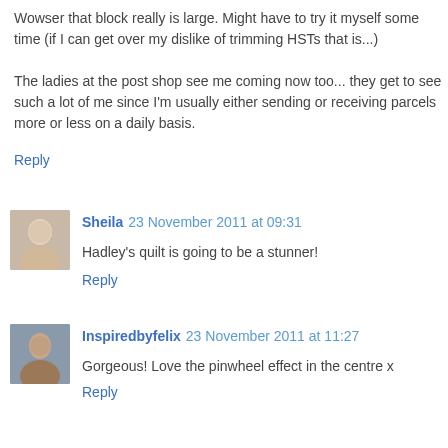Wowser that block really is large. Might have to try it myself some time (if I can get over my dislike of trimming HSTs that is...)

The ladies at the post shop see me coming now too... they get to see such a lot of me since I'm usually either sending or receiving parcels more or less on a daily basis.
Reply
Sheila  23 November 2011 at 09:31
Hadley's quilt is going to be a stunner!
Reply
Inspiredbyfelix  23 November 2011 at 11:27
Gorgeous! Love the pinwheel effect in the centre x
Reply